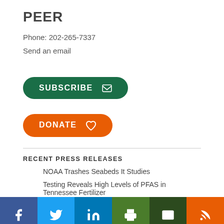PEER
Phone: 202-265-7337
Send an email
[Figure (other): Green rounded button with white text 'SUBSCRIBE' and envelope icon]
[Figure (other): Orange rounded button with white text 'DONATE' and heart icon]
RECENT PRESS RELEASES
NOAA Trashes Seabeds It Studies
Testing Reveals High Levels of PFAS in Tennessee Fertilizer
Eco-Studies Releasing Most Potent Greenhouse Gas
Plastic-Free National Parks Are Needed Now
[Figure (other): Social media icon bar: Facebook, Twitter, LinkedIn, Print, Email, RSS]